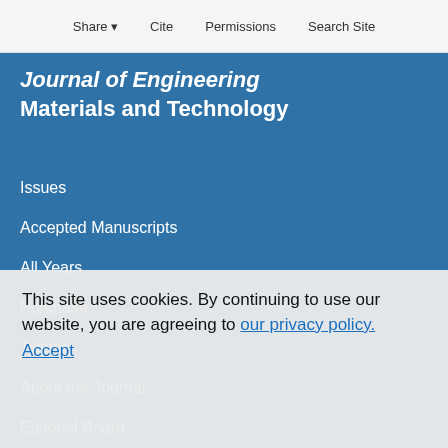Share  Cite  Permissions  Search Site
Journal of Engineering Materials and Technology
Issues
Accepted Manuscripts
All Years
Purchase
Twitter
About the Journal
Editorial Board
Information for Authors
This site uses cookies. By continuing to use our website, you are agreeing to our privacy policy. Accept